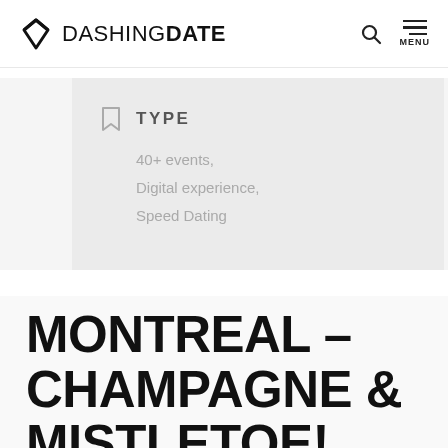DASHING DATE
TYPE
40+ events,
Digital experience,
Speed Dating
MONTREAL – CHAMPAGNE & MISTLETOE! XMAS Video Speed Dating